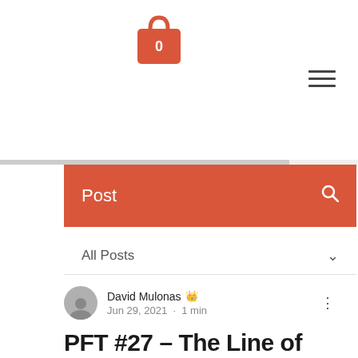[Figure (screenshot): Website header with shopping bag icon showing 0 items, gray sidebar panel, hamburger menu icon, orange navigation bar with Post label and search icon, All Posts dropdown, author row with avatar for David Mulonas Admin dated Jun 29, 2021 1 min read, and post title beginning PFT #27 - The Line of Blueland Cleaning]
Post
All Posts
David Mulonas  Jun 29, 2021 · 1 min
PFT #27 - The Line of Blueland Cleaning